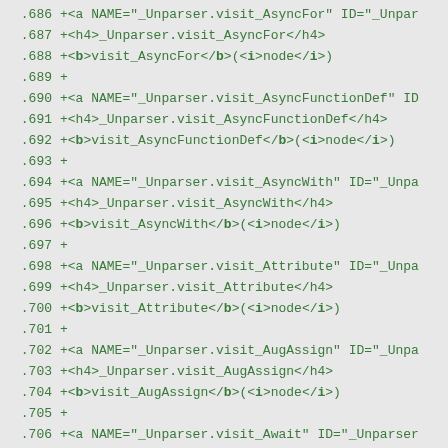.686  +<a NAME="_Unparser.visit_AsyncFor" ID="_Unpar
.687  +<h4>_Unparser.visit_AsyncFor</h4>
.688  +<b>visit_AsyncFor</b>(<i>node</i>)
.689  +
.690  +<a NAME="_Unparser.visit_AsyncFunctionDef" ID
.691  +<h4>_Unparser.visit_AsyncFunctionDef</h4>
.692  +<b>visit_AsyncFunctionDef</b>(<i>node</i>)
.693  +
.694  +<a NAME="_Unparser.visit_AsyncWith" ID="_Unpa
.695  +<h4>_Unparser.visit_AsyncWith</h4>
.696  +<b>visit_AsyncWith</b>(<i>node</i>)
.697  +
.698  +<a NAME="_Unparser.visit_Attribute" ID="_Unpa
.699  +<h4>_Unparser.visit_Attribute</h4>
.700  +<b>visit_Attribute</b>(<i>node</i>)
.701  +
.702  +<a NAME="_Unparser.visit_AugAssign" ID="_Unpa
.703  +<h4>_Unparser.visit_AugAssign</h4>
.704  +<b>visit_AugAssign</b>(<i>node</i>)
.705  +
.706  +<a NAME="_Unparser.visit_Await" ID="_Unparser